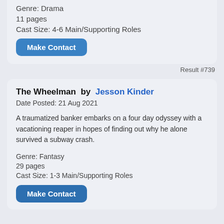Genre: Drama
11 pages
Cast Size: 4-6 Main/Supporting Roles
Make Contact
Result #739
The Wheelman  by  Jesson Kinder
Date Posted: 21 Aug 2021
A traumatized banker embarks on a four day odyssey with a vacationing reaper in hopes of finding out why he alone survived a subway crash.
Genre: Fantasy
29 pages
Cast Size: 1-3 Main/Supporting Roles
Make Contact